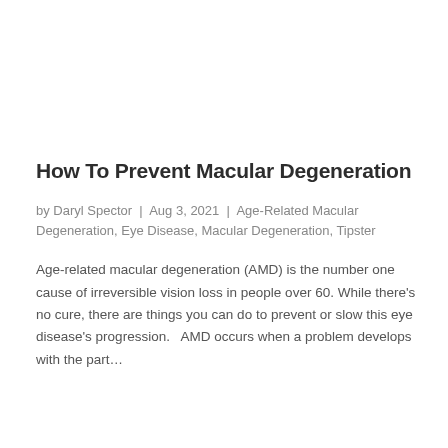How To Prevent Macular Degeneration
by Daryl Spector | Aug 3, 2021 | Age-Related Macular Degeneration, Eye Disease, Macular Degeneration, Tipster
Age-related macular degeneration (AMD) is the number one cause of irreversible vision loss in people over 60. While there’s no cure, there are things you can do to prevent or slow this eye disease’s progression.   AMD occurs when a problem develops with the part…